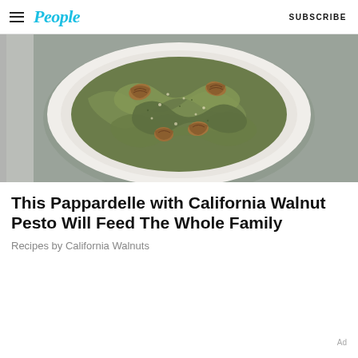People | SUBSCRIBE
[Figure (photo): A white plate of pappardelle pasta with green walnut pesto sauce, topped with walnut pieces and grated cheese, photographed from above on a grey background.]
This Pappardelle with California Walnut Pesto Will Feed The Whole Family
Recipes by California Walnuts
Ad